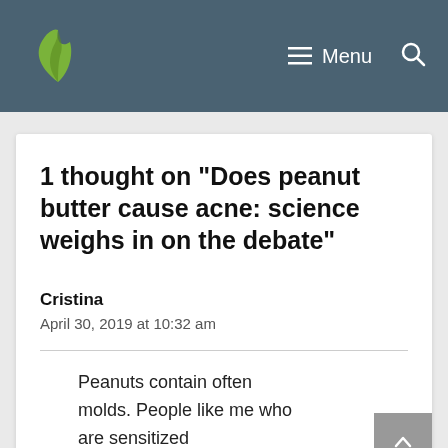[Figure (logo): Green leaf/flame logo icon on dark teal header bar with Menu and search icon navigation]
Menu
1 thought on “Does peanut butter cause acne: science weighs in on the debate”
Cristina
April 30, 2019 at 10:32 am
Peanuts contain often molds. People like me who are sensitized